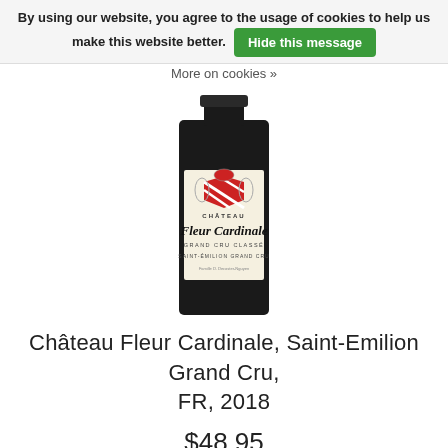By using our website, you agree to the usage of cookies to help us make this website better. Hide this message
More on cookies »
[Figure (photo): Wine bottle of Château Fleur Cardinale, Saint-Emilion Grand Cru Classé, showing the label with a heraldic crest in red and white, the name 'Château Fleur Cardinale', 'Grand Cru Classé', and 'Saint-Émilion Grand Cru']
Château Fleur Cardinale, Saint-Emilion Grand Cru, FR, 2018
$48.95